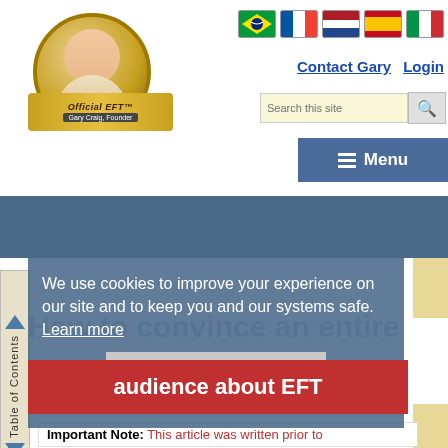[Figure (photo): Gary Craig Official EFT logo with photo of founder in circular gold frame with banner below]
[Figure (infographic): Five country flag icons: Brazil, France, Netherlands, Spain, Italy]
Contact Gary   Login
Search this site
Menu
Articles & Ideas
We use cookies to improve your experience on our site and to keep you and our systems safe. Learn more
I Understand
How to convince an entire audience about EFT
Important Note: This article was written prior to